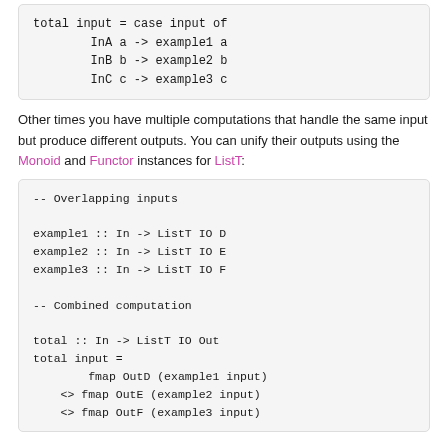total input = case input of
    InA a -> example1 a
    InB b -> example2 b
    InC c -> example3 c
Other times you have multiple computations that handle the same input but produce different outputs. You can unify their outputs using the Monoid and Functor instances for ListT:
-- Overlapping inputs

example1 :: In -> ListT IO D
example2 :: In -> ListT IO E
example3 :: In -> ListT IO F

-- Combined computation

total :: In -> ListT IO Out
total input =
        fmap OutD (example1 input)
    <> fmap OutE (example2 input)
    <> fmap OutF (example3 input)